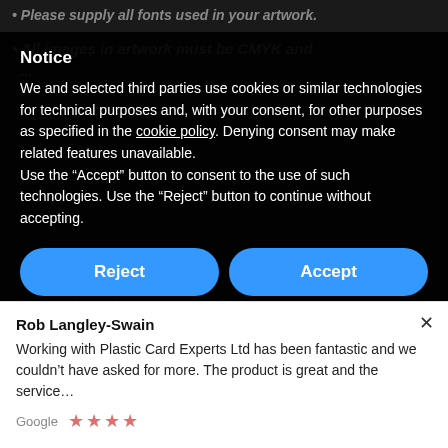Please supply all fonts used in your artwork.
All images in artwork must be CMYK and...
Notice
We and selected third parties use cookies or similar technologies for technical purposes and, with your consent, for other purposes as specified in the cookie policy. Denying consent may make related features unavailable.
Use the “Accept” button to consent to the use of such technologies. Use the “Reject” button to continue without accepting.
Reject
Accept
Learn more and customise
Download our templates
you like, we can provide Photoshop or QuarkXPress template for you to work from.
Card Template Download .zip
3 Keyfob Template PSD | PDF
Rob Langley-Swain
Working with Plastic Card Experts Ltd has been fantastic and we couldn’t have asked for more. The product is great and the service…
Google ★★★★